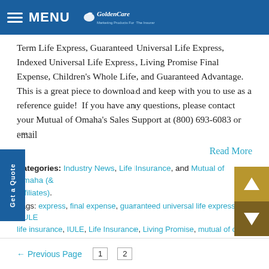MENU GoldenCare
Term Life Express, Guaranteed Universal Life Express, Indexed Universal Life Express, Living Promise Final Expense, Children’s Whole Life, and Guaranteed Advantage. This is a great piece to download and keep with you to use as a reference guide!  If you have any questions, please contact your Mutual of Omaha’s Sales Support at (800) 693-6083 or email
Read More
Categories: Industry News, Life Insurance, and Mutual of Omaha (& Affiliates).
Tags: express, final expense, guaranteed universal life express, GULE, life insurance, IULE, Life Insurance, Living Promise, mutual of omaha, simplified issue, simplified underwriting, United of Omaha, whole life.
Previous Page  1  2